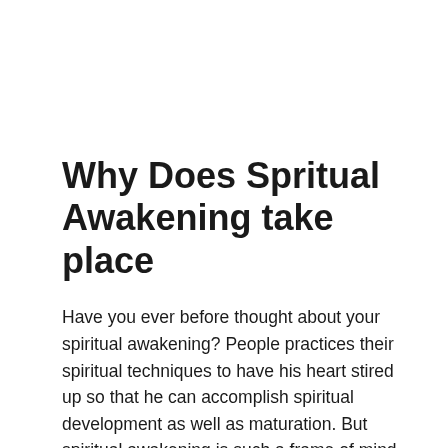Why Does Spritual Awakening take place
Have you ever before thought about your spiritual awakening? People practices their spiritual techniques to have his heart stired up so that he can accomplish spiritual development as well as maturation. But spiritual awakening is such a frame of mind which happens as a result of some unexpected incidents of life. An individual that is routinely having actually a dealt with routine remains to go on, yet if any such